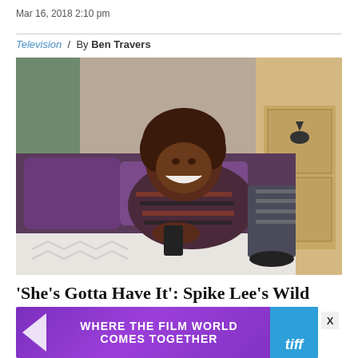Mar 16, 2018 2:10 pm
Television / By Ben Travers
[Figure (photo): A woman with curly hair lying on a bed with purple pillows, smiling and looking at her phone, wearing a striped sweater. A wooden dresser with bird artwork is visible in the background.]
'She's Gotta Have It': Spike Lee's Wild
[Figure (infographic): Advertisement banner reading 'WHERE THE FILM WORLD COMES TOGETHER' with TIFF logo, purple background with triangle arrow graphic.]